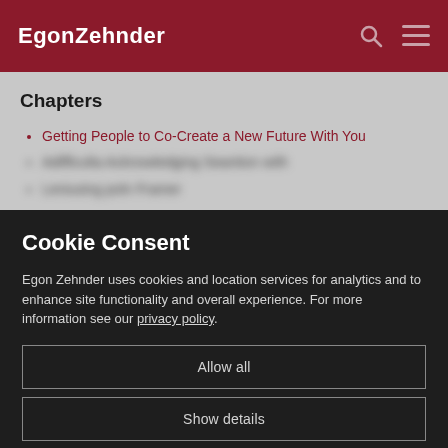EgonZehnder
Chapters
Getting People to Co-Create a New Future With You
[obscured]
[obscured]
Cookie Consent
Egon Zehnder uses cookies and location services for analytics and to enhance site functionality and overall experience. For more information see our privacy policy.
Allow all
Show details